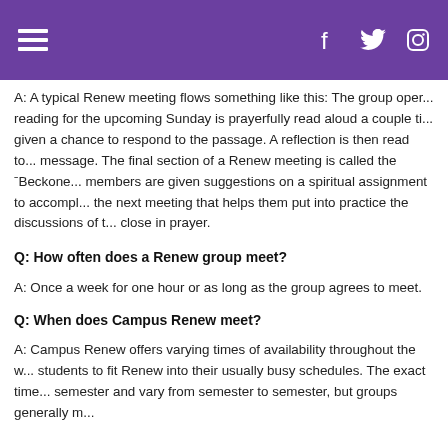[hamburger menu] [f] [twitter] [instagram]
A: A typical Renew meeting flows something like this: The group oper... reading for the upcoming Sunday is prayerfully read aloud a couple ti... given a chance to respond to the passage. A reflection is then read to... message. The final section of a Renew meeting is called the 'Beckone... members are given suggestions on a spiritual assignment to accompl... the next meeting that helps them put into practice the discussions of t... close in prayer.
Q: How often does a Renew group meet?
A: Once a week for one hour or as long as the group agrees to meet.
Q: When does Campus Renew meet?
A: Campus Renew offers varying times of availability throughout the w... students to fit Renew into their usually busy schedules. The exact time... semester and vary from semester to semester, but groups generally m...